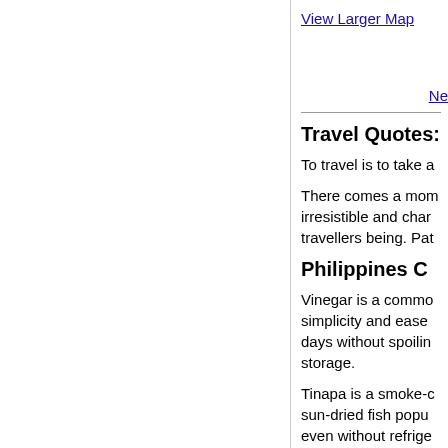View Larger Map
Ne
Travel Quotes:
To travel is to take a
There comes a mom irresistible and char travellers being. Pat
Philippines C
Vinegar is a commo simplicity and ease days without spoilin storage.
Tinapa is a smoke-c sun-dried fish popu even without refrige
More details at Phili